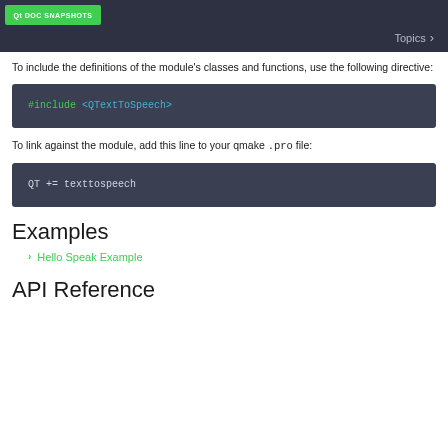Qt Doc Snapshots | Topics
To include the definitions of the module's classes and functions, use the following directive:
[Figure (screenshot): Code block showing: #include <QTextToSpeech>]
To link against the module, add this line to your qmake .pro file:
[Figure (screenshot): Code block showing: QT += texttospeech]
Examples
Hello Speak Example
API Reference